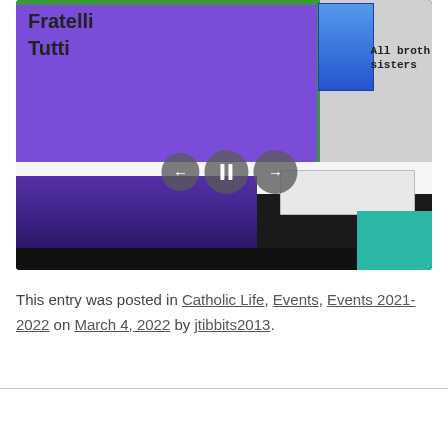[Figure (photo): A classroom bulletin board display reading 'Fratelli Tutti' in decorative lettering on a purple background, with a white radiator below and slideshow navigation controls (back arrow, pause, forward arrow) overlaid on the image. The right side shows 'All brothers/sisters' text on a lighter background with a blue poster visible.]
This entry was posted in Catholic Life, Events, Events 2021-2022 on March 4, 2022 by jtibbits2013.